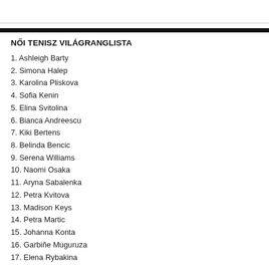NŐI TENISZ VILÁGRANGLISTA
1. Ashleigh Barty
2. Simona Halep
3. Karolina Pliskova
4. Sofia Kenin
5. Elina Svitolina
6. Bianca Andreescu
7. Kiki Bertens
8. Belinda Bencic
9. Serena Williams
10. Naomi Osaka
11. Aryna Sabalenka
12. Petra Kvitova
13. Madison Keys
14. Petra Martic
15. Johanna Konta
16. Garbiñe Muguruza
17. Elena Rybakina